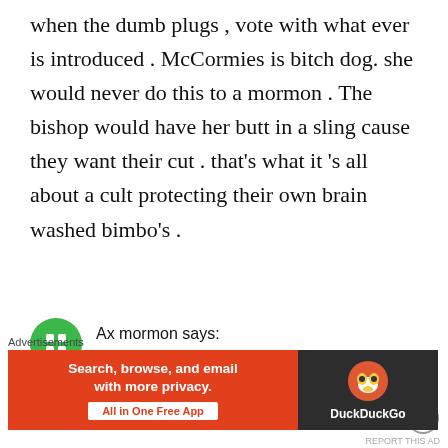when the dumb plugs , vote with what ever is introduced . McCormies is bitch dog. she would never do this to a mormon . The bishop would have her butt in a sling cause they want their cut . that's what it 's all about a cult protecting their own brain washed bimbo's .
Ax mormon says:
September 1, 2020 at 10:21 pm
when people tell you to get on with your
Advertisements
[Figure (screenshot): DuckDuckGo advertisement banner: orange background on left with text 'Search, browse, and email with more privacy. All in One Free App', dark background on right with DuckDuckGo duck logo and brand name.]